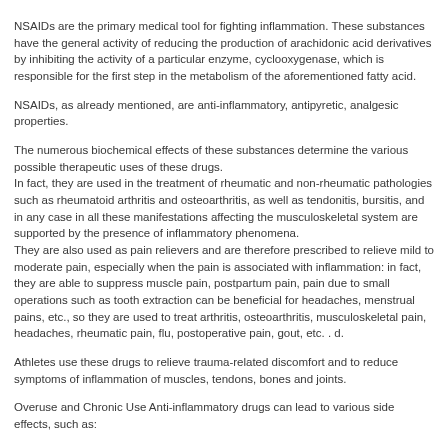NSAIDs are the primary medical tool for fighting inflammation. These substances have the general activity of reducing the production of arachidonic acid derivatives by inhibiting the activity of a particular enzyme, cyclooxygenase, which is responsible for the first step in the metabolism of the aforementioned fatty acid.
NSAIDs, as already mentioned, are anti-inflammatory, antipyretic, analgesic properties.
The numerous biochemical effects of these substances determine the various possible therapeutic uses of these drugs. In fact, they are used in the treatment of rheumatic and non-rheumatic pathologies such as rheumatoid arthritis and osteoarthritis, as well as tendonitis, bursitis, and in any case in all these manifestations affecting the musculoskeletal system are supported by the presence of inflammatory phenomena. They are also used as pain relievers and are therefore prescribed to relieve mild to moderate pain, especially when the pain is associated with inflammation: in fact, they are able to suppress muscle pain, postpartum pain, pain due to small operations such as tooth extraction can be beneficial for headaches, menstrual pains, etc., so they are used to treat arthritis, osteoarthritis, musculoskeletal pain, headaches, rheumatic pain, flu, postoperative pain, gout, etc. . d.
Athletes use these drugs to relieve trauma-related discomfort and to reduce symptoms of inflammation of muscles, tendons, bones and joints.
Overuse and Chronic Use Anti-inflammatory drugs can lead to various side effects, such as: